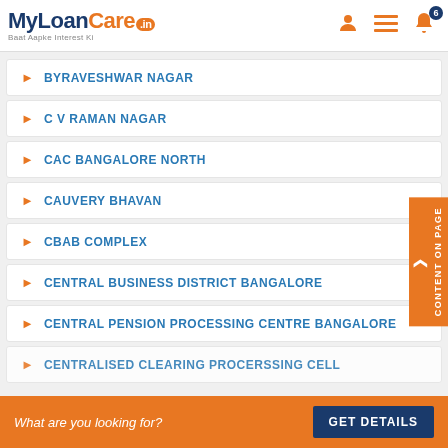MyLoanCare.in - Baat Aapke Interest Ki
BYRAVESHWAR NAGAR
C V RAMAN NAGAR
CAC BANGALORE NORTH
CAUVERY BHAVAN
CBAB COMPLEX
CENTRAL BUSINESS DISTRICT BANGALORE
CENTRAL PENSION PROCESSING CENTRE BANGALORE
CENTRALISED CLEARING PROCERSSING CELL
What are you looking for? GET DETAILS